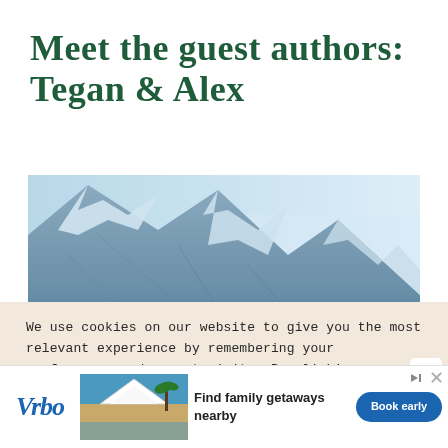Meet the guest authors: Tegan & Alex
[Figure (photo): Snow-capped mountain peak against a light blue sky]
We use cookies on our website to give you the most relevant experience by remembering your preferences and repeat visits. By clicking “Accept”, you consent to the use of ALL the cookies.
Do not sell my personal information.
[Figure (screenshot): Vrbo advertisement banner with logo, beach house photo, text 'Find family getaways nearby', and 'Book early' button]